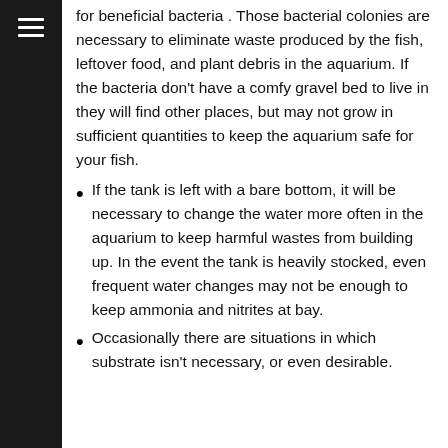for beneficial bacteria . Those bacterial colonies are necessary to eliminate waste produced by the fish, leftover food, and plant debris in the aquarium. If the bacteria don't have a comfy gravel bed to live in they will find other places, but may not grow in sufficient quantities to keep the aquarium safe for your fish.
If the tank is left with a bare bottom, it will be necessary to change the water more often in the aquarium to keep harmful wastes from building up. In the event the tank is heavily stocked, even frequent water changes may not be enough to keep ammonia and nitrites at bay.
Occasionally there are situations in which substrate isn't necessary, or even desirable.